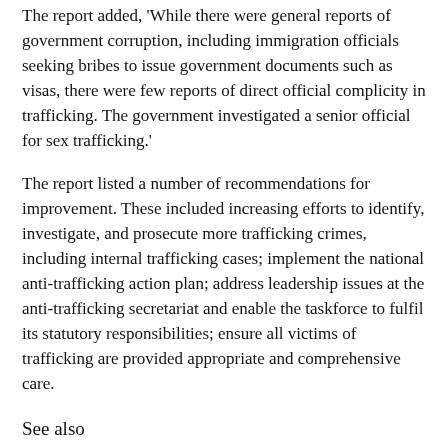The report added, 'While there were general reports of government corruption, including immigration officials seeking bribes to issue government documents such as visas, there were few reports of direct official complicity in trafficking. The government investigated a senior official for sex trafficking.'
The report listed a number of recommendations for improvement. These included increasing efforts to identify, investigate, and prosecute more trafficking crimes, including internal trafficking cases; implement the national anti-trafficking action plan; address leadership issues at the anti-trafficking secretariat and enable the taskforce to fulfil its statutory responsibilities; ensure all victims of trafficking are provided appropriate and comprehensive care.
See also
University lecturers 'forced to weed fields of Swaziland absolute monarch'
https://swazimedia.blogspot.com/2020/01/university-lecturers-forced-to-weed.html
Swazi Govt misleads on child labour
http://swazimedia.blogspot.com/2015/01/swazi-govt-misleads-on...